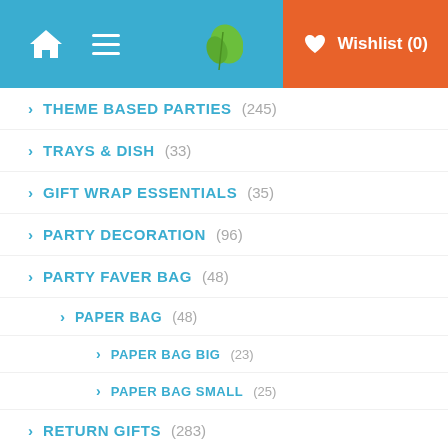Wishlist (0)
THEME BASED PARTIES (245)
TRAYS & DISH (33)
GIFT WRAP ESSENTIALS (35)
PARTY DECORATION (96)
PARTY FAVER BAG (48)
PAPER BAG (48)
PAPER BAG BIG (23)
PAPER BAG SMALL (25)
RETURN GIFTS (283)
SET OF 6 (1)
SET OF 12 (1)